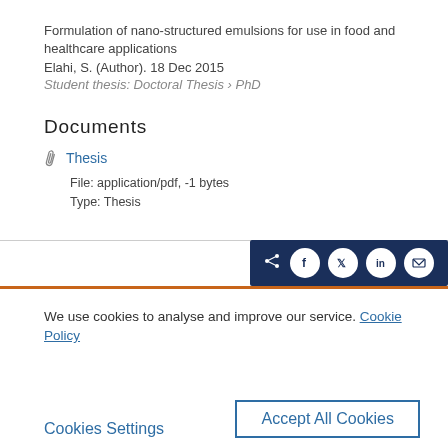Formulation of nano-structured emulsions for use in food and healthcare applications
Elahi, S. (Author). 18 Dec 2015
Student thesis: Doctoral Thesis › PhD
Documents
Thesis
File: application/pdf, -1 bytes
Type: Thesis
We use cookies to analyse and improve our service. Cookie Policy
Cookies Settings
Accept All Cookies